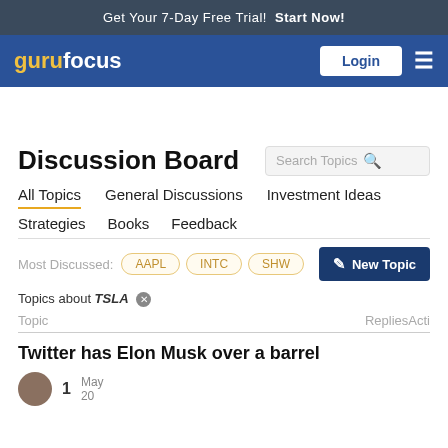Get Your 7-Day Free Trial!  Start Now!
[Figure (logo): GuruFocus logo with Login button and hamburger menu on blue navbar]
Discussion Board
All Topics
General Discussions
Investment Ideas
Strategies
Books
Feedback
Most Discussed: AAPL  INTC  SHW
Topics about TSLA
| Topic | RepliesActi |
| --- | --- |
| Twitter has Elon Musk over a barrel | 1  May 20 |